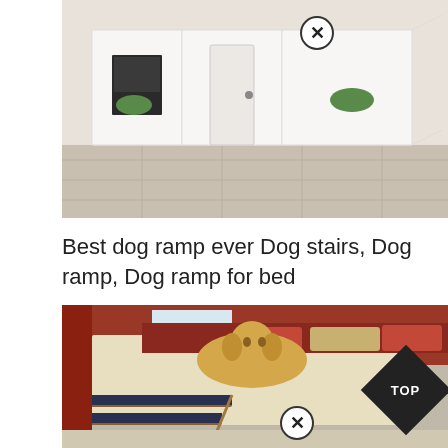[Figure (photo): Interior photo of a white dog house / pet house built under a staircase, with small door and decorative elements, shown on tile floor. Has a circular close/remove button overlay at top.]
Best dog ramp ever Dog stairs, Dog ramp, Dog ramp for bed
[Figure (photo): Photo of a golden/yellow Labrador dog lying on a bed with cream bedspread, red pillows and curtains in bedroom background. Dog stairs/ramp with dark navy steps and wooden frame are in the foreground. Has a TOP diamond badge in lower right and a circular close/remove button at the bottom.]